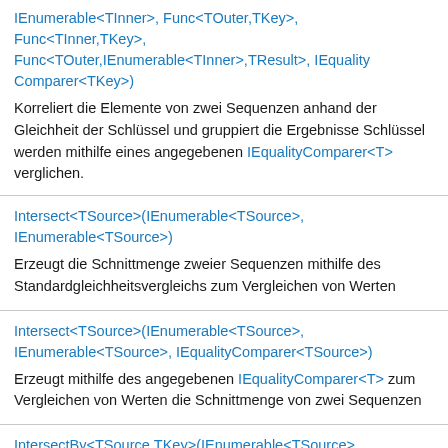IEnumerable<TInner>, Func<TOuter,TKey>, Func<TInner,TKey>, Func<TOuter,IEnumerable<TInner>,TResult>, IEqualityComparer<TKey>)
Korreliert die Elemente von zwei Sequenzen anhand der Gleichheit der Schlüssel und gruppiert die Ergebnisse Schlüssel werden mithilfe eines angegebenen IEqualityComparer<T> verglichen.
Intersect<TSource>(IEnumerable<TSource>, IEnumerable<TSource>)
Erzeugt die Schnittmenge zweier Sequenzen mithilfe des Standardgleichheitsvergleichs zum Vergleichen von Werten
Intersect<TSource>(IEnumerable<TSource>, IEnumerable<TSource>, IEqualityComparer<TSource>)
Erzeugt mithilfe des angegebenen IEqualityComparer<T> zum Vergleichen von Werten die Schnittmenge von zwei Sequenzen
IntersectBy<TSource,TKey>(IEnumerable<TSource>, IEnumerable<TKey>, Func<TSource,TKey>)
Erzeugt die festgelegte Schnittmenge von zwei Sequenzen